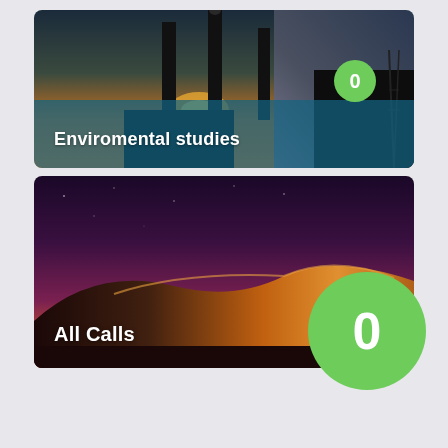[Figure (infographic): Card with industrial chimney stacks silhouetted against sunset sky, with teal/blue overlay banner at bottom reading 'Enviromental studies' and a green circular badge showing '0']
[Figure (infographic): Card with desert sand dune at dusk under purple/maroon sky, with label 'All Calls' in white at bottom-left and a large green circular badge showing '0' at bottom-right]